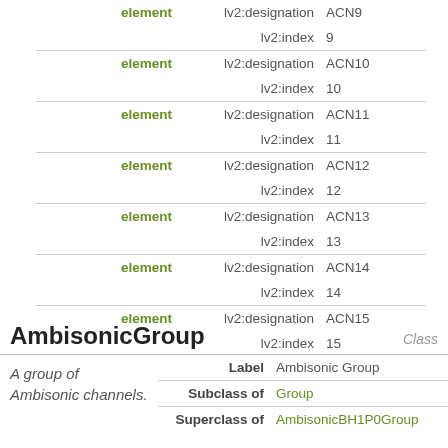| keyword | property | value |
| --- | --- | --- |
| element | lv2:designation | ACN9 |
|  | lv2:index | 9 |
| element | lv2:designation | ACN10 |
|  | lv2:index | 10 |
| element | lv2:designation | ACN11 |
|  | lv2:index | 11 |
| element | lv2:designation | ACN12 |
|  | lv2:index | 12 |
| element | lv2:designation | ACN13 |
|  | lv2:index | 13 |
| element | lv2:designation | ACN14 |
|  | lv2:index | 14 |
| element | lv2:designation | ACN15 |
|  | lv2:index | 15 |
AmbisonicGroup
| description | Label | Subclass of | Superclass of |
| --- | --- | --- | --- |
| A group of Ambisonic channels. | Ambisonic Group | Group | AmbisonicBH1P0Group |